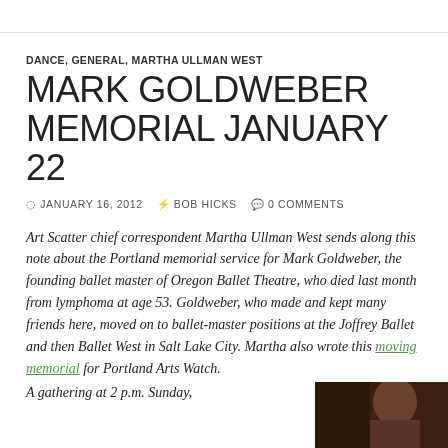DANCE, GENERAL, MARTHA ULLMAN WEST
MARK GOLDWEBER MEMORIAL JANUARY 22
JANUARY 16, 2012  BOB HICKS  0 COMMENTS
Art Scatter chief correspondent Martha Ullman West sends along this note about the Portland memorial service for Mark Goldweber, the founding ballet master of Oregon Ballet Theatre, who died last month from lymphoma at age 53. Goldweber, who made and kept many friends here, moved on to ballet-master positions at the Joffrey Ballet and then Ballet West in Salt Lake City. Martha also wrote this moving memorial for Portland Arts Watch.
A gathering at 2 p.m. Sunday,
[Figure (photo): Dark portrait photograph of a person, partially visible at bottom right of page]